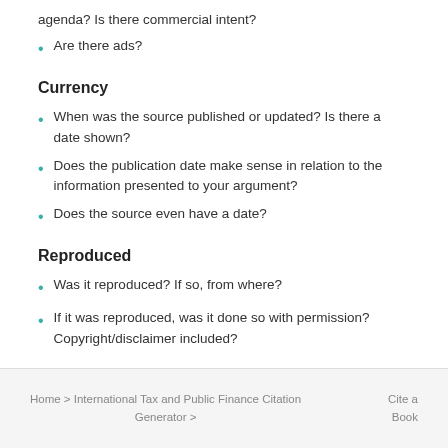agenda? Is there commercial intent?
Are there ads?
Currency
When was the source published or updated? Is there a date shown?
Does the publication date make sense in relation to the information presented to your argument?
Does the source even have a date?
Reproduced
Was it reproduced? If so, from where?
If it was reproduced, was it done so with permission? Copyright/disclaimer included?
Home > International Tax and Public Finance Citation Generator >   Cite a Book